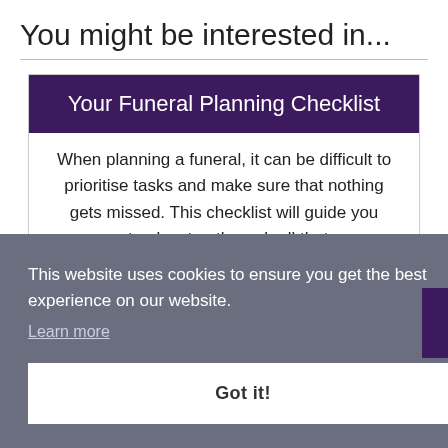You might be interested in...
Your Funeral Planning Checklist
When planning a funeral, it can be difficult to prioritise tasks and make sure that nothing gets missed. This checklist will guide you step by step through all that
This website uses cookies to ensure you get the best experience on our website.
Learn more
Got it!